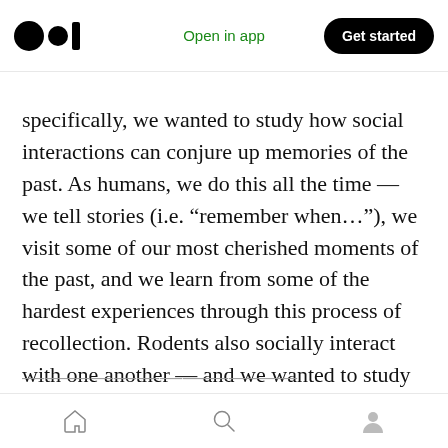Open in app | Get started
specifically, we wanted to study how social interactions can conjure up memories of the past. As humans, we do this all the time — we tell stories (i.e. “remember when…”), we visit some of our most cherished moments of the past, and we learn from some of the hardest experiences through this process of recollection. Rodents also socially interact with one another — and we wanted to study how socialization tapped into and triggered previously acquired memories within their brains as well.